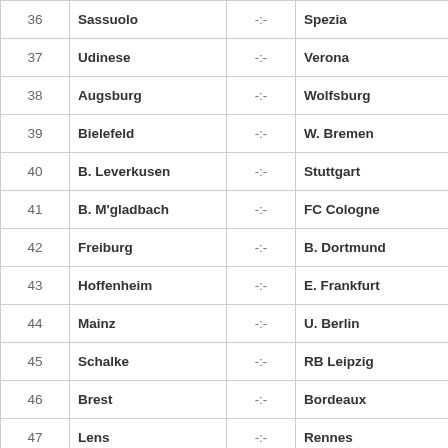| # | Home |  | Away | Day |
| --- | --- | --- | --- | --- |
| 36 | Sassuolo | -:- | Spezia | EKO |
| 37 | Udinese | -:- | Verona | Sunday |
| 38 | Augsburg | -:- | Wolfsburg | Saturday |
| 39 | Bielefeld | -:- | W. Bremen | Sunday |
| 40 | B. Leverkusen | -:- | Stuttgart | Saturday |
| 41 | B. M'gladbach | -:- | FC Cologne | LKO |
| 42 | Freiburg | -:- | B. Dortmund | Saturday |
| 43 | Hoffenheim | -:- | E. Frankfurt | Sunday |
| 44 | Mainz | -:- | U. Berlin | Saturday |
| 45 | Schalke | -:- | RB Leipzig | Saturday |
| 46 | Brest | -:- | Bordeaux | Sunday |
| 47 | Lens | -:- | Rennes | LKO |